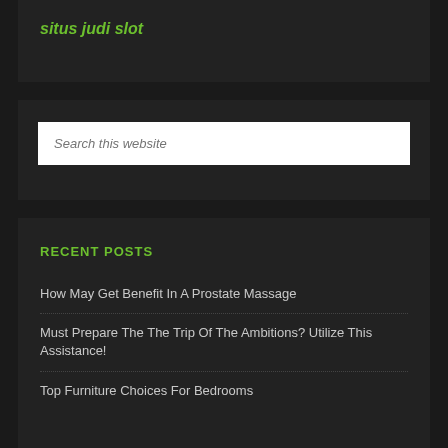situs judi slot
Search this website
RECENT POSTS
How May Get Benefit In A Prostate Massage
Must Prepare The The Trip Of The Ambitions? Utilize This Assistance!
Top Furniture Choices For Bedrooms